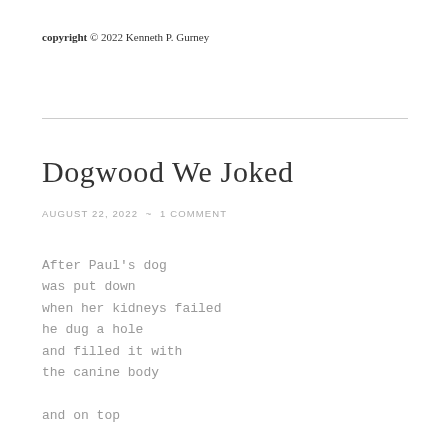copyright © 2022 Kenneth P. Gurney
Dogwood We Joked
AUGUST 22, 2022 ~ 1 COMMENT
After Paul's dog
was put down
when her kidneys failed
he dug a hole
and filled it with
the canine body
and on top